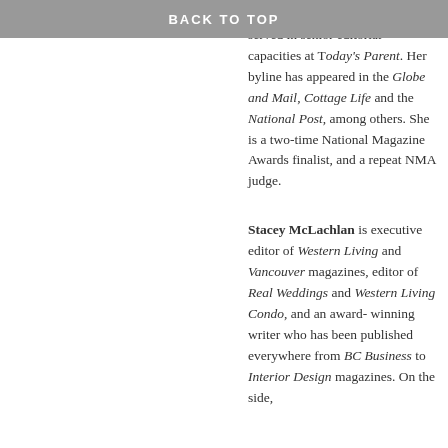BACK TO TOP
Better/Vivre mieux Walmart, and served in senior editorial capacities at Today's Parent. Her byline has appeared in the Globe and Mail, Cottage Life and the National Post, among others. She is a two-time National Magazine Awards finalist, and a repeat NMA judge.
Stacey McLachlan is executive editor of Western Living and Vancouver magazines, editor of Real Weddings and Western Living Condo, and an award-winning writer who has been published everywhere from BC Business to Interior Design magazines. On the side,